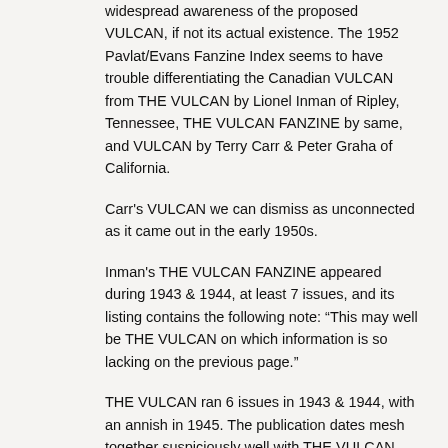widespread awareness of the proposed VULCAN, if not its actual existence. The 1952 Pavlat/Evans Fanzine Index seems to have trouble differentiating the Canadian VULCAN from THE VULCAN by Lionel Inman of Ripley, Tennessee, THE VULCAN FANZINE by same, and VULCAN by Terry Carr & Peter Graha of California.
Carr's VULCAN we can dismiss as unconnected as it came out in the early 1950s.
Inman's THE VULCAN FANZINE appeared during 1943 & 1944, at least 7 issues, and its listing contains the following note: “This may well be THE VULCAN on which information is so lacking on the previous page.”
THE VULCAN ran 6 issues in 1943 & 1944, with an annish in 1945. The publication dates mesh together suspiciously well with THE VULCAN FANZINE, issue # 6 of both zines in March of 44 for instance. So THE VULCAN & THE VULCAN FANZINE are probably one and the same.